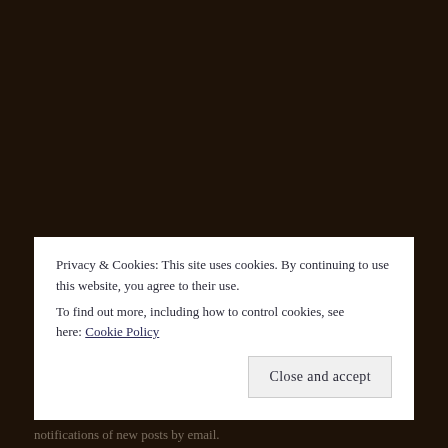Privacy & Cookies: This site uses cookies. By continuing to use this website, you agree to their use.
To find out more, including how to control cookies, see here: Cookie Policy
Close and accept
notifications of new posts by email.